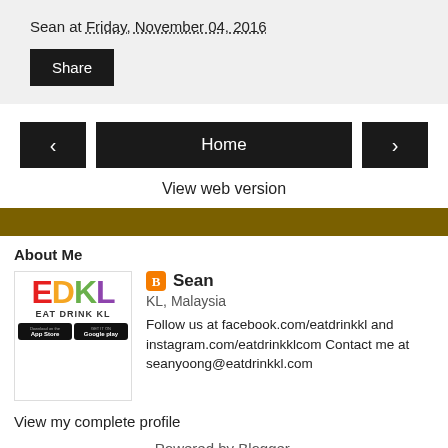Sean at Friday, November 04, 2016
Share
Home
View web version
About Me
Sean
KL, Malaysia
Follow us at facebook.com/eatdrinkkl and instagram.com/eatdrinkklcom Contact me at seanyoong@eatdrinkkl.com
View my complete profile
Powered by Blogger.